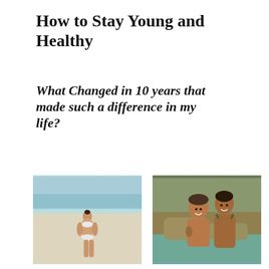How to Stay Young and Healthy
What Changed in 10 years that made such a difference in my life?
[Figure (photo): Woman in white bikini standing on a beach with turquoise water in the background]
[Figure (photo): Couple smiling together outdoors near rocks and water, woman in patterned bikini, man shirtless with tattoo]